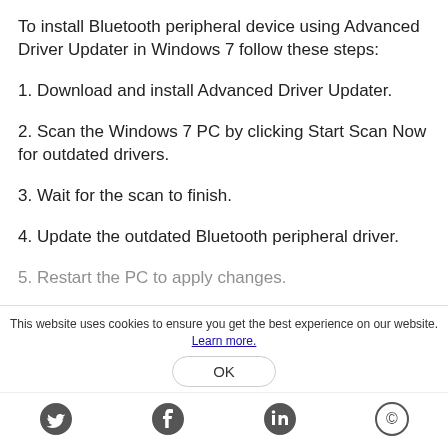To install Bluetooth peripheral device using Advanced Driver Updater in Windows 7 follow these steps:
1. Download and install Advanced Driver Updater.
2. Scan the Windows 7 PC by clicking Start Scan Now for outdated drivers.
3. Wait for the scan to finish.
4. Update the outdated Bluetooth peripheral driver.
5. Restart the PC to apply changes.
This website uses cookies to ensure you get the best experience on our website. Learn more.
OK